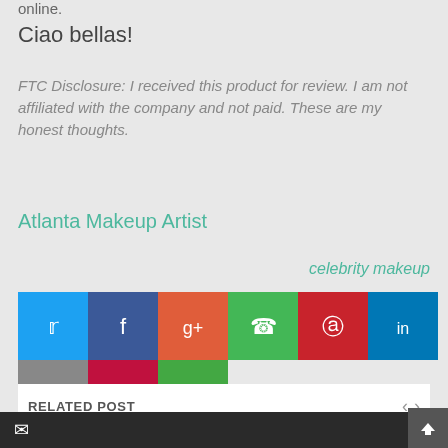online.
Ciao bellas!
FTC Disclosure: I received this product for review. I am not affiliated with the company and not paid. These are my honest thoughts.
Atlanta Makeup Artist
celebrity makeup
[Figure (infographic): Social sharing buttons: Twitter (blue), Facebook (dark blue), Google+ (orange-red), WhatsApp (green), Pinterest (red), LinkedIn (dark blue), Print (gray), Email (crimson), Link (green)]
[Figure (infographic): Navigation bar with left arrow, Home button, View web version button, right arrow]
RELATED POST
[Figure (infographic): Bottom bar with email icon and scroll-to-top arrow]